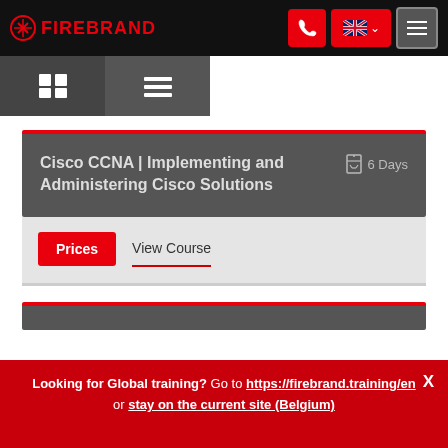[Figure (screenshot): Firebrand training website screenshot showing navigation bar with logo, phone button, language selector (UK flag), and menu button]
[Figure (screenshot): Toggle bar with grid/list view buttons]
Cisco CCNA | Implementing and Administering Cisco Solutions
6 Days
Prices
View Course
Looking for Global training? Go to https://firebrand.training/en or stay on the current site (Belgium)